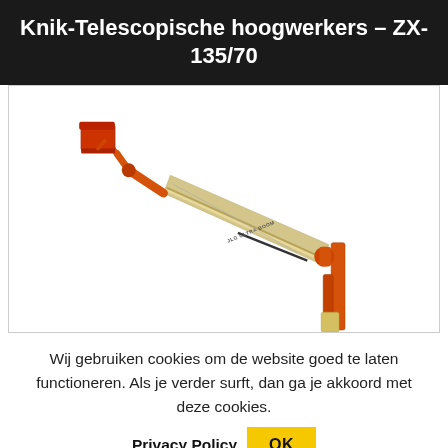Knik-Telescopische hoogwerkers – ZX-135/70
[Figure (photo): JLG Ultra Boom articulating telescopic boom lift (ZX-135/70) shown fully extended at an angle, with an orange upper articulating arm and bucket at the top-left, and a beige/yellow main telescopic boom extending diagonally down to the lower-right where the orange support structure is visible.]
Wij gebruiken cookies om de website goed te laten functioneren. Als je verder surft, dan ga je akkoord met deze cookies.
Privacy Policy
OK